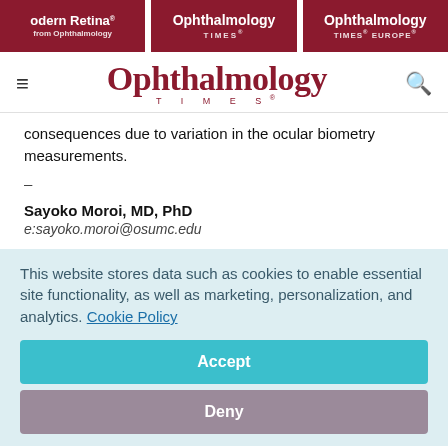Modern Retina from Ophthalmology | Ophthalmology Times | Ophthalmology Times Europe
[Figure (logo): Ophthalmology Times logo with hamburger menu and search icon]
consequences due to variation in the ocular biometry measurements.
–
Sayoko Moroi, MD, PhD
e:sayoko.moroi@osumc.edu
This website stores data such as cookies to enable essential site functionality, as well as marketing, personalization, and analytics. Cookie Policy
Accept
Deny